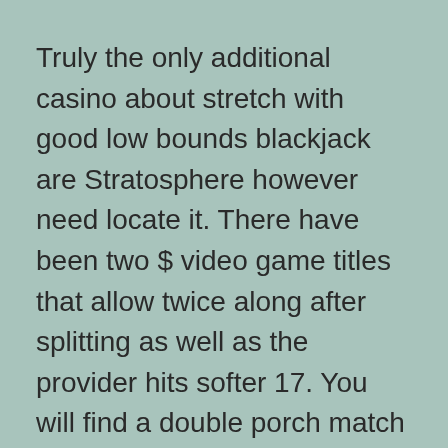Truly the only additional casino about stretch with good low bounds blackjack are Stratosphere however need locate it. There have been two $ video game titles that allow twice along after splitting as well as the provider hits softer 17. You will find a double porch match for $25 with the same laws. SLS Sin City could be the then most readily useful blackjack casino about part of the remove.
They could be in an effort to make winning combinations, and more importantly themselves.